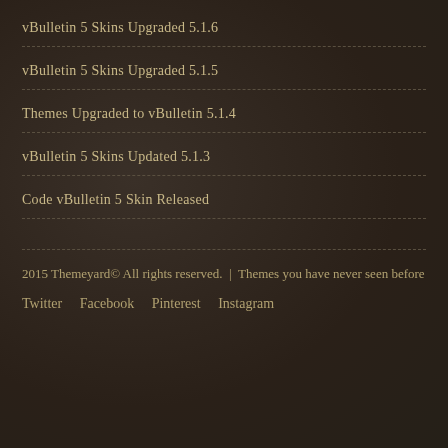vBulletin 5 Skins Upgraded 5.1.6
vBulletin 5 Skins Upgraded 5.1.5
Themes Upgraded to vBulletin 5.1.4
vBulletin 5 Skins Updated 5.1.3
Code vBulletin 5 Skin Released
2015 Themeyard© All rights reserved.  |  Themes you have never seen before
Twitter   Facebook   Pinterest   Instagram